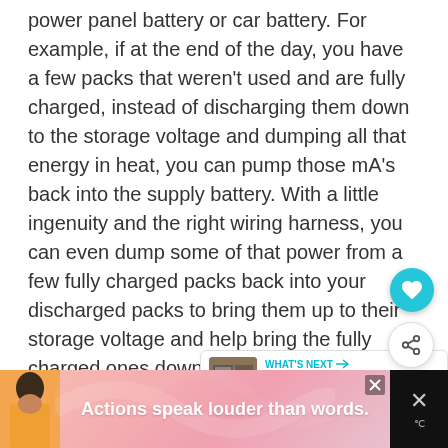power panel battery or car battery. For example, if at the end of the day, you have a few packs that weren't used and are fully charged, instead of discharging them down to the storage voltage and dumping all that energy in heat, you can pump those mA's back into the supply battery. With a little ingenuity and the right wiring harness, you can even dump some of that power from a few fully charged packs back into your discharged packs to bring them up to their storage voltage and help bring the fully charged ones down.
[Figure (other): Teal circular floating action button with heart icon]
[Figure (other): White circular share button with share icon]
[Figure (other): What's Next card showing Best RC Battery article thumbnail and title]
[Figure (other): Advertisement banner at bottom: person in yellow shirt, text 'Actions speak louder than words.' on pink gradient background, with X close button]